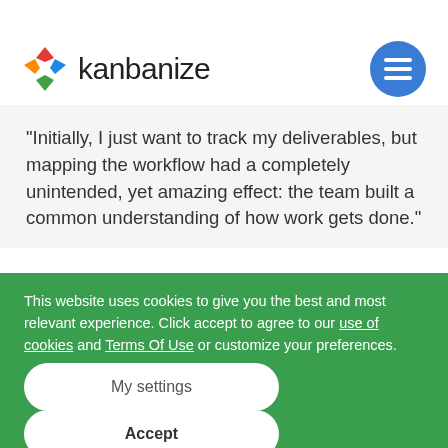kanbanize
"Initially, I just want to track my deliverables, but mapping the workflow had a completely unintended, yet amazing effect: the team built a common understanding of how work gets done."
Read the Case Study
This website uses cookies to give you the best and most relevant experience. Click accept to agree to our use of cookies and Terms Of Use or customize your preferences.
My settings
Accept